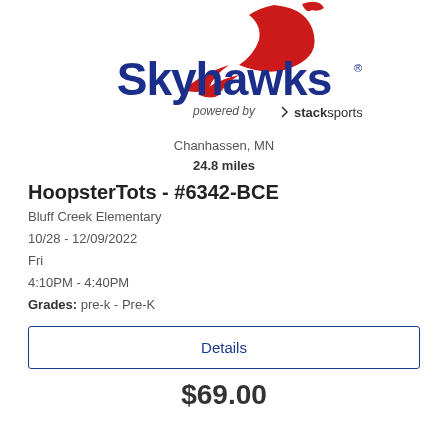[Figure (logo): Skyhawks powered by Stack Sports logo with red hawk graphic and navy blue text]
Chanhassen, MN
24.8 miles
HoopsterTots - #6342-BCE
Bluff Creek Elementary
10/28 - 12/09/2022
Fri
4:10PM - 4:40PM
Grades: pre-k - Pre-K
Details
$69.00